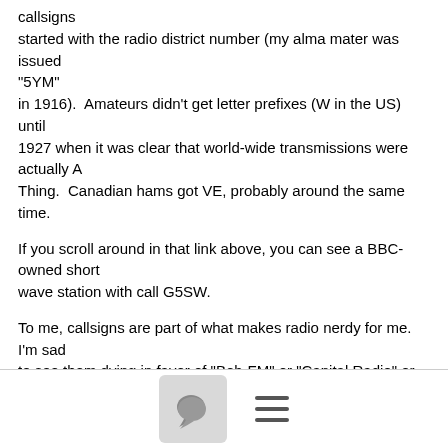callsigns started with the radio district number (my alma mater was issued "5YM" in 1916).  Amateurs didn't get letter prefixes (W in the US) until 1927 when it was clear that world-wide transmissions were actually A Thing.  Canadian hams got VE, probably around the same time.
If you scroll around in that link above, you can see a BBC-owned short wave station with call G5SW.
To me, callsigns are part of what makes radio nerdy for me.  I'm sad to see them dying in favor of "Bob-FM" or "Capital Radio" or "CBS Sports Radio".
--
Peter Laws | N5UWY | plaws plaws net | Travel by Train!
[Figure (other): Footer bar with a comment/chat bubble icon in a grey rounded square and a hamburger menu icon (three horizontal lines)]